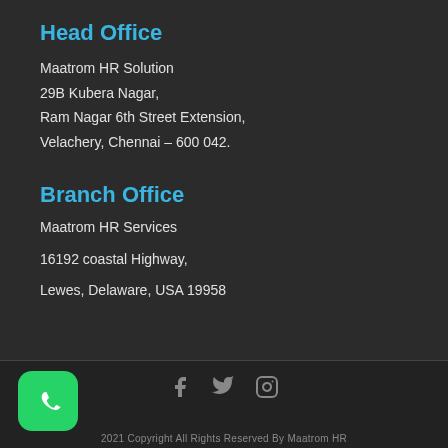Head Office
Maatrom HR Solution
29B Kubera Nagar,
Ram Nagar 6th Street Extension,
Velachery, Chennai – 600 042.
Branch Office
Maatrom HR Services
16192 coastal Highway,
Lewes, Delaware, USA 19958
[Figure (logo): WhatsApp icon — green rounded square with white phone handset]
[Figure (illustration): Social media icons: Facebook (f), Twitter (bird), Instagram (camera)]
2021 Copyright All Rights Reserved By Maatrom HR